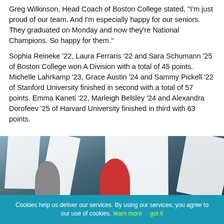Greg Wilkinson, Head Coach of Boston College stated, "I'm just proud of our team. And I'm especially happy for our seniors. They graduated on Monday and now they're National Champions. So happy for them."
Sophia Reineke '22, Laura Ferraris '22 and Sara Schumann '25 of Boston College won A Division with a total of 45 points. Michelle Lahrkamp '23, Grace Austin '24 and Sammy Pickell '22 of Stanford University finished in second with a total of 57 points. Emma Kaneti '22, Marleigh Belsley '24 and Alexandra Dorofeev '25 of Harvard University finished in third with 63 points.
[Figure (photo): Sailors in sailboats on the water, two women visible in the foreground, with multiple white sails visible in the background]
Cookies help us deliver our services. By using our services, you agree to our use of cookies.  learn more      got it